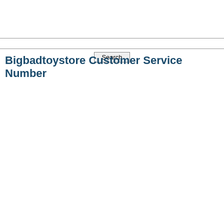[Figure (screenshot): Search bar input field spanning full width with a Search button centered below it]
Bigbadtoystore Customer Service Number